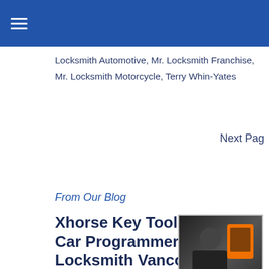≡
Locksmith Automotive, Mr. Locksmith Franchise, Mr. Locksmith Motorcycle, Terry Whin-Yates
Next Pag
From Our Blog
Xhorse Key Tool Plus Car Programmer | Mr. Locksmith Vancouver
[Figure (photo): Thumbnail image showing a person holding an orange Xhorse Key Tool Plus device, with text overlay reading XHORSE KEY TOOL PLUS]
Xhorse Key Tool Plus Car Programmer: Xhorse Key Tool Plus Car Programmer is a professional all-in-one car Programmer. It has multi-function, Bluetooth and WIFI communication interface that are integrated